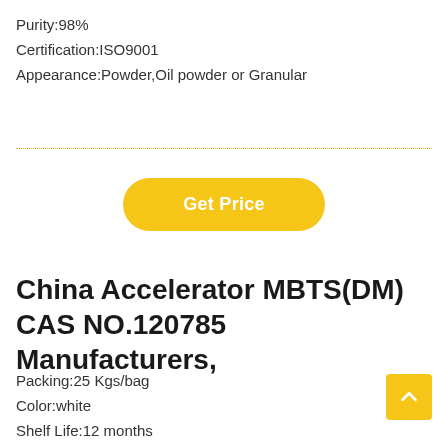Purity:98%
Certification:ISO9001
Appearance:Powder,Oil powder or Granular
[Figure (other): Dotted yellow horizontal divider line]
Get Price
China Accelerator MBTS(DM) CAS NO.120785 Manufacturers,
Packing:25 Kgs/bag
Color:white
Shelf Life:12 months
Purity:98%